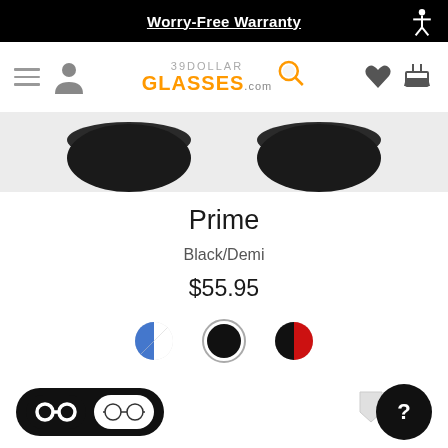Worry-Free Warranty
[Figure (logo): 39DollarGlasses.com logo with orange GLASSES text and magnifying glass icon]
[Figure (photo): Two dark lens shapes of glasses frames shown from top angle]
Prime
Black/Demi
$55.95
[Figure (illustration): Three color swatches: blue/white split circle, black circle with white border (selected), black/red split circle]
↔ Medium Width
[Figure (illustration): Bottom UI toggle with thick-lens and thin-lens glasses icons, and help button]